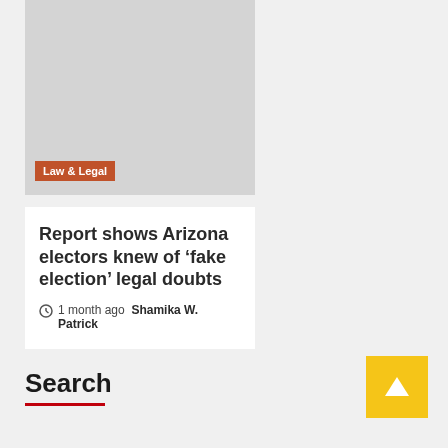[Figure (photo): Gray placeholder image for article thumbnail]
Law & Legal
Report shows Arizona electors knew of ‘fake election’ legal doubts
1 month ago  Shamika W. Patrick
Search